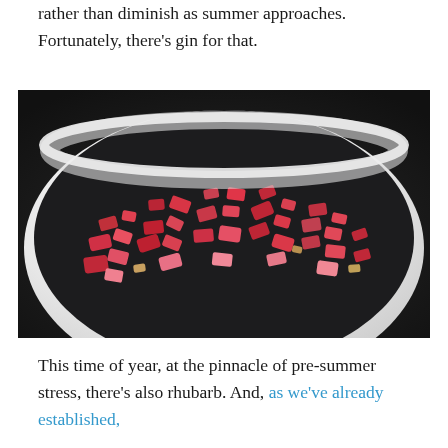rather than diminish as summer approaches. Fortunately, there's gin for that.
[Figure (photo): A white bowl filled with chopped rhubarb pieces, vibrant red and pink in color, on a dark background.]
This time of year, at the pinnacle of pre-summer stress, there's also rhubarb. And, as we've already established,